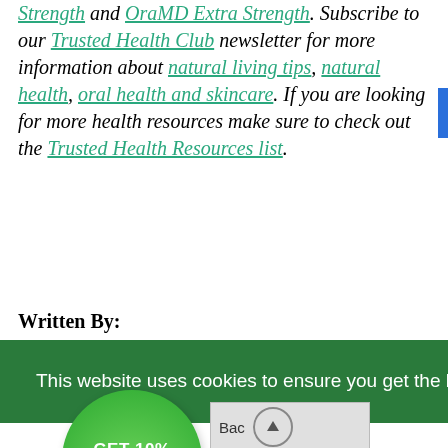Strength and OraMD Extra Strength. Subscribe to our Trusted Health Club newsletter for more information about natural living tips, natural health, oral health and skincare. If you are looking for more health resources make sure to check out the Trusted Health Resources list.
Written By:
[Figure (other): Cookie consent banner overlay in green with text 'This website uses cookies to ensure you get the best experience on our website.' with a 'Got it!' black button, and a green circular badge showing 'GET 10% OFF' with a discount symbol, and a back-to-top arrow button.]
Natural Health Products natural health blog and newsletters.